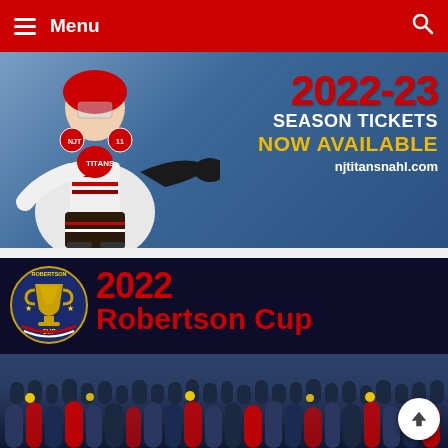Menu
[Figure (photo): NJ Titans hockey player wearing #11 white jersey on blue background with text: 2022-23 SEASON TICKETS NOW AVAILABLE njtitansnahl.com]
[Figure (photo): 2022 Robertson Cup promotional image with Robertson Cup logo and team celebration photo on dark blue background]